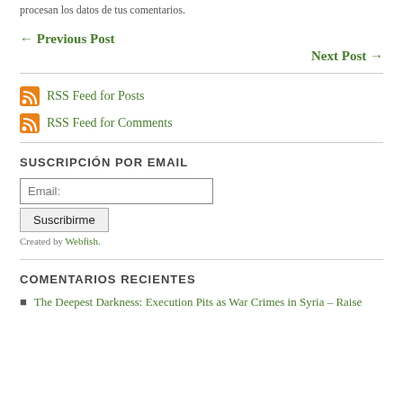procesan los datos de tus comentarios.
← Previous Post
Next Post →
RSS Feed for Posts
RSS Feed for Comments
SUSCRIPCIÓN POR EMAIL
Email:
Suscribirme
Created by Webfish.
COMENTARIOS RECIENTES
The Deepest Darkness: Execution Pits as War Crimes in Syria – Raise